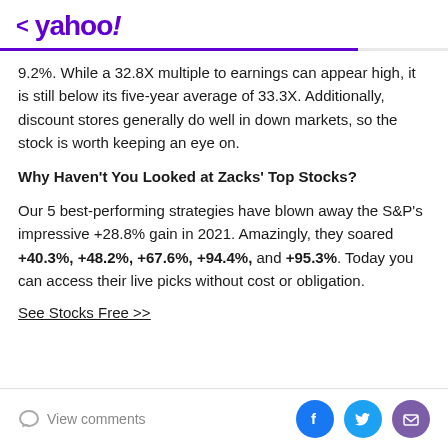< yahoo!
9.2%. While a 32.8X multiple to earnings can appear high, it is still below its five-year average of 33.3X. Additionally, discount stores generally do well in down markets, so the stock is worth keeping an eye on.
Why Haven't You Looked at Zacks' Top Stocks?
Our 5 best-performing strategies have blown away the S&P's impressive +28.8% gain in 2021. Amazingly, they soared +40.3%, +48.2%, +67.6%, +94.4%, and +95.3%. Today you can access their live picks without cost or obligation.
See Stocks Free >>
View comments